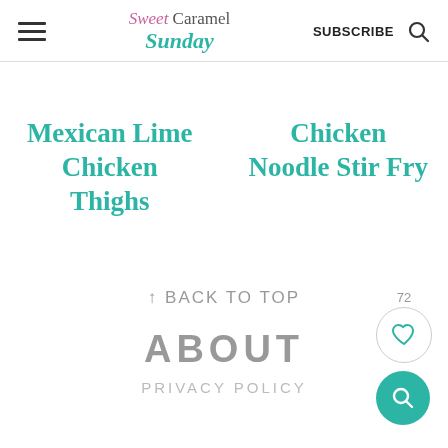Sweet Caramel Sunday | SUBSCRIBE
Mexican Lime Chicken Thighs
Chicken Noodle Stir Fry
↑ BACK TO TOP
72
ABOUT
PRIVACY POLICY